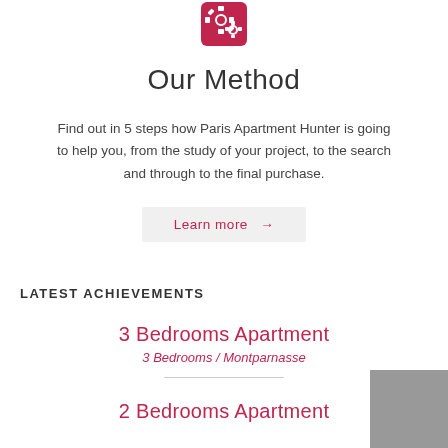[Figure (illustration): Pink/crimson rounded-rectangle icon with white gear/settings symbols inside]
Our Method
Find out in 5 steps how Paris Apartment Hunter is going to help you, from the study of your project, to the search and through to the final purchase.
Learn more →
LATEST ACHIEVEMENTS
3 Bedrooms Apartment
3 Bedrooms / Montparnasse
2 Bedrooms Apartment
[Figure (illustration): Gray square placeholder image in the bottom right corner]